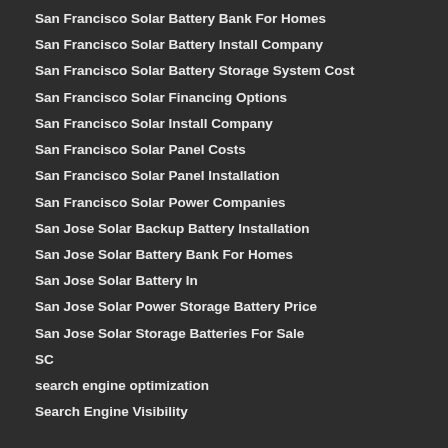San Francisco Solar Battery Bank For Homes
San Francisco Solar Battery Install Company
San Francisco Solar Battery Storage System Cost
San Francisco Solar Financing Options
San Francisco Solar Install Company
San Francisco Solar Panel Costs
San Francisco Solar Panel Installation
San Francisco Solar Power Companies
San Jose Solar Backup Battery Installation
San Jose Solar Battery Bank For Homes
San Jose Solar Battery In
San Jose Solar Power Storage Battery Price
San Jose Solar Storage Batteries For Sale
SC
search engine optimization
Search Engine Visibility